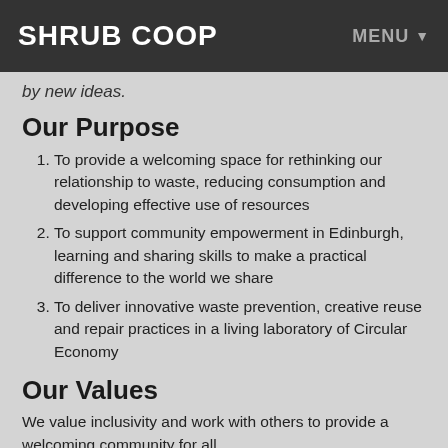SHRUB COOP   MENU ▼
by new ideas.
Our Purpose
To provide a welcoming space for rethinking our relationship to waste, reducing consumption and developing effective use of resources
To support community empowerment in Edinburgh, learning and sharing skills to make a practical difference to the world we share
To deliver innovative waste prevention, creative reuse and repair practices in a living laboratory of Circular Economy
Our Values
We value inclusivity and work with others to provide a welcoming community for all.